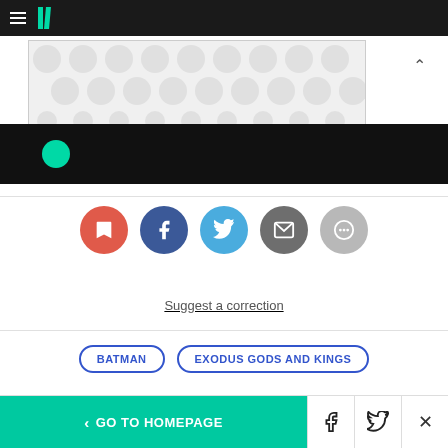HuffPost navigation bar with hamburger menu and logo
[Figure (illustration): Ad banner with grey bubble/dot pattern background]
[Figure (photo): Dark image strip with teal circle element and text]
[Figure (infographic): Social sharing icons: bookmark (red), Facebook (dark blue), Twitter (light blue), email (grey), more (light grey)]
Suggest a correction
BATMAN
EXODUS GODS AND KINGS
< GO TO HOMEPAGE